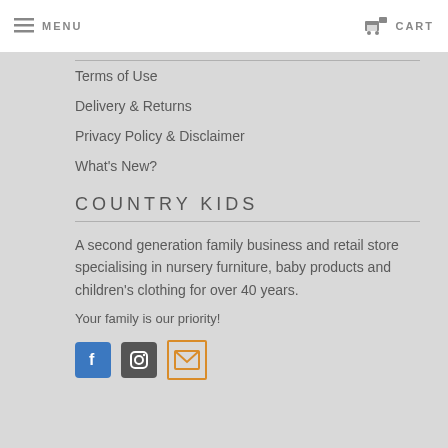MENU   CART
CUSTOMER CARD
Terms of Use
Delivery & Returns
Privacy Policy & Disclaimer
What's New?
COUNTRY KIDS
A second generation family business and retail store specialising in nursery furniture, baby products and children's clothing for over 40 years.
Your family is our priority!
[Figure (illustration): Social media icons: Facebook (blue), Instagram (dark grey), Email (orange outline)]